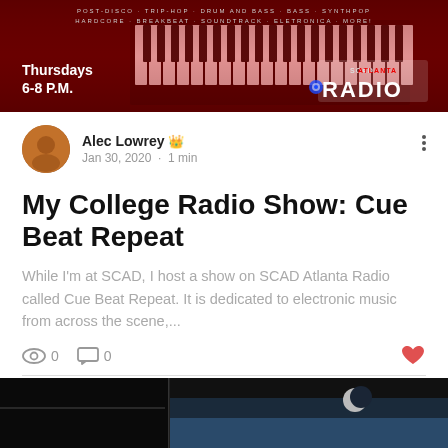[Figure (photo): SCAD Atlanta Radio banner showing piano keys with red background, text 'Thursdays 6-8 P.M.' and SCAD Atlanta Radio logo]
Alec Lowrey 👑 Jan 30, 2020 · 1 min
My College Radio Show: Cue Beat Repeat
While I'm at SCAD, I host a show on SCAD Atlanta Radio called Cue Beat Repeat. It is dedicated to electronic music from across the scene,...
👁 0   💬 0   ♥
[Figure (photo): Bottom portion of another article thumbnail showing a dark room with a half moon visible and green foliage at bottom]